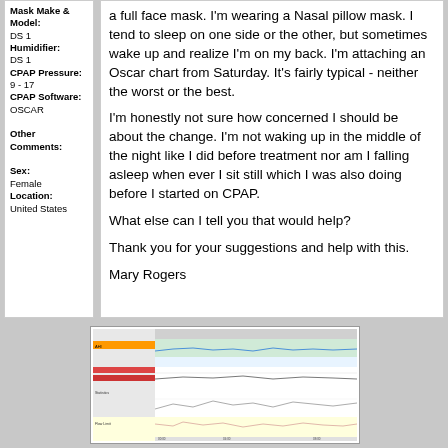Mask Make & Model: DS 1 Humidifier: DS 1 CPAP Pressure: 9 - 17 CPAP Software: OSCAR Other Comments: Sex: Female Location: United States
a full face mask. I'm wearing a Nasal pillow mask. I tend to sleep on one side or the other, but sometimes wake up and realize I'm on my back. I'm attaching an Oscar chart from Saturday. It's fairly typical - neither the worst or the best.

I'm honestly not sure how concerned I should be about the change. I'm not waking up in the middle of the night like I did before treatment nor am I falling asleep when ever I sit still which I was also doing before I started on CPAP.

What else can I tell you that would help?

Thank you for your suggestions and help with this.

Mary Rogers
[Figure (screenshot): OSCAR CPAP data chart screenshot showing various sleep therapy metrics including pressure, flow rate, and events over a night session]